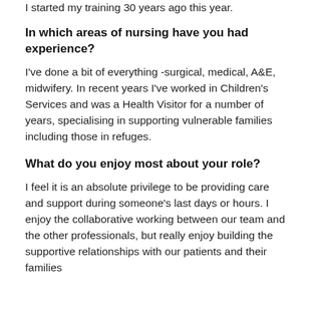I started my training 30 years ago this year.
In which areas of nursing have you had experience?
I've done a bit of everything -surgical, medical, A&E, midwifery. In recent years I've worked in Children's Services and was a Health Visitor for a number of years, specialising in supporting vulnerable families including those in refuges.
What do you enjoy most about your role?
I feel it is an absolute privilege to be providing care and support during someone's last days or hours. I enjoy the collaborative working between our team and the other professionals, but really enjoy building the supportive relationships with our patients and their families